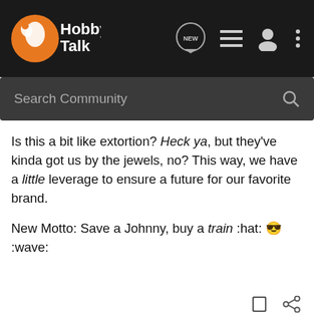[Figure (screenshot): HobbyTalk forum website navigation bar with logo, NEW chat icon, list icon, user icon, and more options icon]
Search Community
Is this a bit like extortion? Heck ya, but they've kinda got us by the jewels, no? This way, we have a little leverage to ensure a future for our favorite brand.

New Motto: Save a Johnny, buy a train :hat: 😎 :wave:
accobra64 · Registered 🇨🇦
Joined Aug 10, 2003 · 3,096 Posts
#2 · Jan 18, 2007
Carnut, you have to be able to find that JL first before you can buy it.